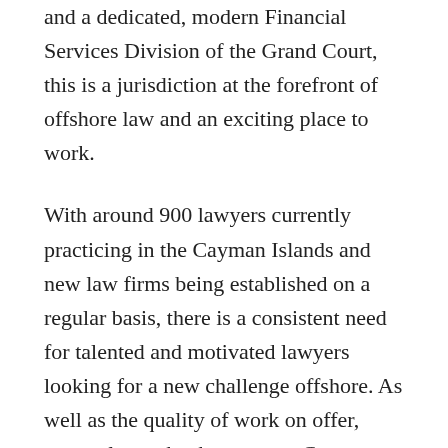and a dedicated, modern Financial Services Division of the Grand Court, this is a jurisdiction at the forefront of offshore law and an exciting place to work.
With around 900 lawyers currently practicing in the Cayman Islands and new law firms being established on a regular basis, there is a consistent need for talented and motivated lawyers looking for a new challenge offshore. As well as the quality of work on offer, many also make the move to Cayman looking to balance their career with a quality of life as well. With great weather and no commute, you can truly make the most of your free time and enjoy all